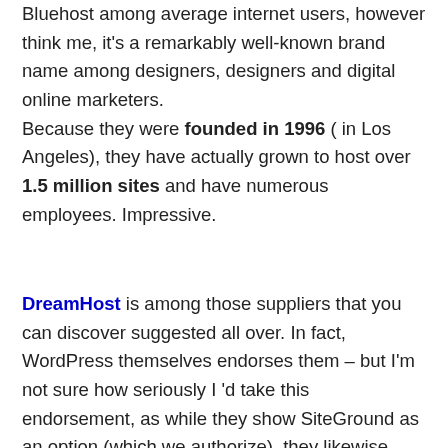Bluehost among average internet users, however think me, it's a remarkably well-known brand name among designers, designers and digital online marketers. Because they were founded in 1996 ( in Los Angeles), they have actually grown to host over 1.5 million sites and have numerous employees. Impressive.
DreamHost is among those suppliers that you can discover suggested all over. In fact, WordPress themselves endorses them – but I'm not sure how seriously I 'd take this endorsement, as while they show SiteGround as an option (which we authorize), they likewise recommend Bluehost, which is a a lot more doubtful option.